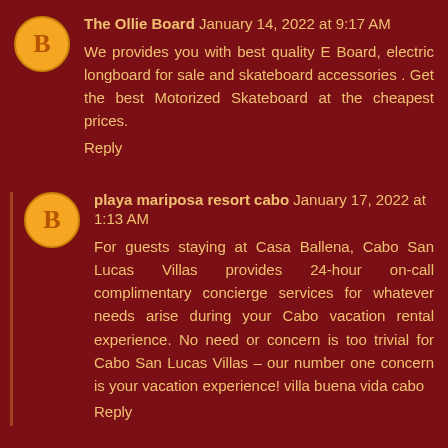The Ollie Board January 14, 2022 at 9:17 AM
We provides you with best quality E Board, electric longboard for sale and skateboard accessories . Get the best Motorized Skateboard at the cheapest prices.
Reply
playa mariposa resort cabo January 17, 2022 at 1:13 AM
For guests staying at Casa Ballena, Cabo San Lucas Villas provides 24-hour on-call complimentary concierge services for whatever needs arise during your Cabo vacation rental experience. No need or concern is too trivial for Cabo San Lucas Villas – our number one concern is your vacation experience! villa buena vida cabo
Reply
playa mariposa resort cabo January 17, 2022 at 2:34 AM
Salmon Bruschettas, Antipasto, Prosciutto With Melon,